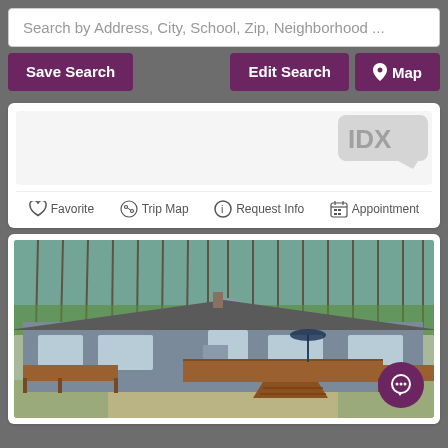Search by Address, City, School, Zip, Neighborhood ...
Save Search | Edit Search | Map
[Figure (screenshot): IDX watermark logo in gray speech bubble shape]
Favorite  Trip Map  Request Info  Appointment
[Figure (photo): Exterior photo of a gray ranch-style house with wooden deck and staircase, surrounded by trees with bare branches and green foliage in background]